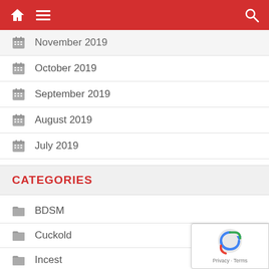Navigation bar with home, menu, and search icons
November 2019
October 2019
September 2019
August 2019
July 2019
CATEGORIES
BDSM
Cuckold
Incest
Brother / sister
Father / daughter